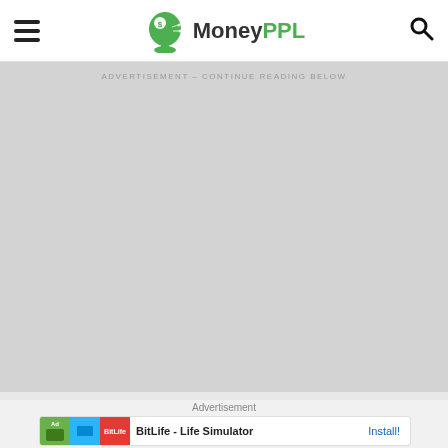MoneyPPL
[Figure (screenshot): Advertisement placeholder area with light gray background and text 'ADVERTISEMENT - CONTINUE READING BELOW']
Advertisement
[Figure (screenshot): BitLife - Life Simulator app advertisement card with game screenshots and Install button]